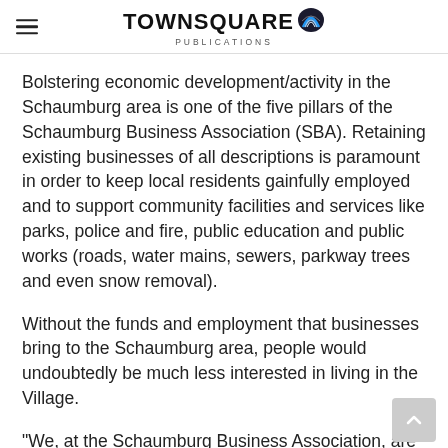TOWNSQUARE PUBLICATIONS
Bolstering economic development/activity in the Schaumburg area is one of the five pillars of the Schaumburg Business Association (SBA). Retaining existing businesses of all descriptions is paramount in order to keep local residents gainfully employed and to support community facilities and services like parks, police and fire, public education and public works (roads, water mains, sewers, parkway trees and even snow removal).
Without the funds and employment that businesses bring to the Schaumburg area, people would undoubtedly be much less interested in living in the Village.
“We, at the Schaumburg Business Association, are